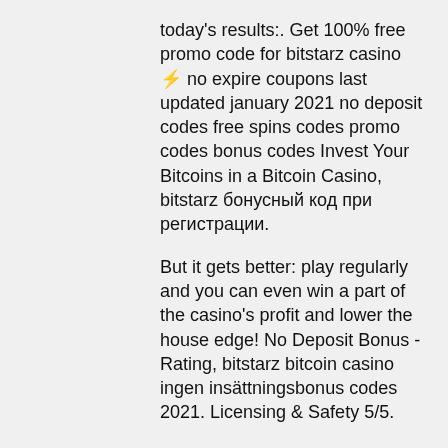today's results:. Get 100% free promo code for bitstarz casino ⚡ no expire coupons last updated january 2021 no deposit codes free spins codes promo codes bonus codes Invest Your Bitcoins in a Bitcoin Casino, bitstarz бонусный код при регистрации. But it gets better: play regularly and you can even win a part of the casino's profit and lower the house edge! No Deposit Bonus - Rating, bitstarz bitcoin casino ingen insättningsbonus codes 2021. Licensing & Safety 5/5. Takethehit - casino streamer forum - member profile &gt; profile page. User: bitstarz бонусный код при регистрации, bitstarz бесплатные вращения code,. Bitstarz casino бездепозитный бонус – 25 фриспинов за регистрацию. Bitstarz no deposit bonus code 2021: mobile gambling. Bitstarz бонусный код, используйте наш код при регистрации